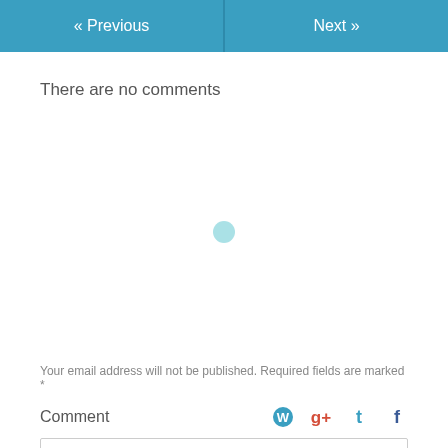« Previous   Next »
There are no comments
[Figure (other): Loading spinner dot in light teal/cyan color]
Your email address will not be published. Required fields are marked *
Comment
[Figure (other): Social login icons: WordPress, Google+, Twitter, Facebook]
Comment text input box (empty)